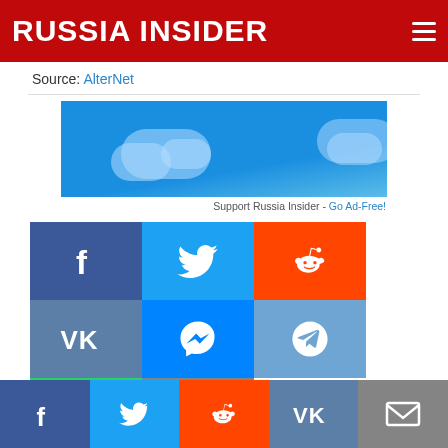RUSSIA INSIDER
Source: AlterNet
[Figure (other): Advertisement banner with blue sky and cloud graphics]
Support Russia Insider - Go Ad-Free!
[Figure (infographic): Social sharing buttons: Facebook, Twitter, Reddit, VK, Messenger, Telegram, WhatsApp, Email]
Our commenting rules: You can say pretty much anything except the F word. If you are abusive, obscene, or a paid troll,
Bottom bar social icons: Facebook, Twitter, Reddit, VK, Email